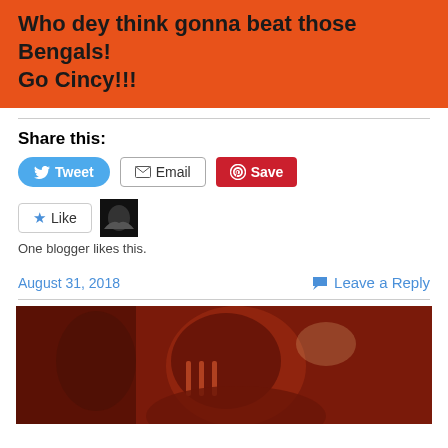Who dey think gonna beat those Bengals! Go Cincy!!!
Share this:
[Figure (screenshot): Social sharing buttons: Tweet (blue pill), Email (outlined), Save (red Pinterest button)]
[Figure (screenshot): Like button with star icon, blogger avatar thumbnail, text: One blogger likes this.]
August 31, 2018
Leave a Reply
[Figure (photo): Dark red-tinted photo of a football player wearing a helmet]